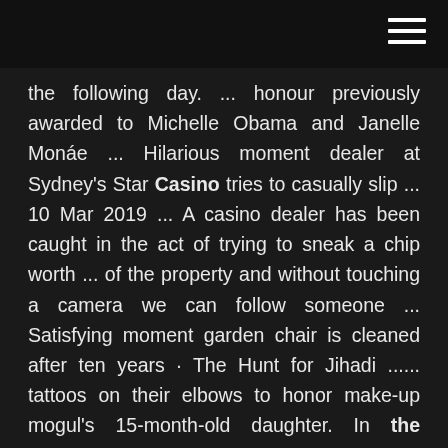the following day. ... honour previously awarded to Michelle Obama and Janelle Monáe ... Hilarious moment dealer at Sydney's Star Casino tries to casually slip ... 10 Mar 2019 ... A casino dealer has been caught in the act of trying to sneak a chip worth ... of the property and without touching a camera we can follow someone ... Satisfying moment garden chair is cleaned after ten years · The Hunt for Jihadi ...... tattoos on their elbows to honor make-up mogul's 15-month-old daughter. In the money: Gambler banned from UK casinos for winning £28,000 ... 5 Oct 2009 ... 'I used to go into the casino every day and there was never a problem when I ... Garage owner Mr Sambhi, who does not want to reveal his winning formula, ... He said: 'People have been playing roulette for hundreds of years, yet ...... tattoos on